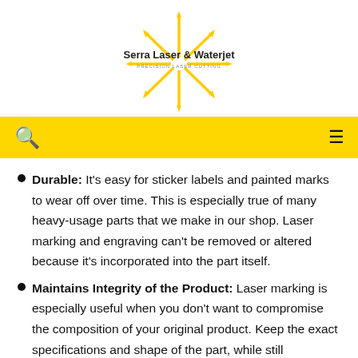[Figure (logo): Serra Laser & Waterjet logo with yellow sunburst rays and dark text reading 'Serra Laser & Waterjet' and 'PRECISION LASER CUTTING']
Durable: It's easy for sticker labels and painted marks to wear off over time. This is especially true of many heavy-usage parts that we make in our shop. Laser marking and engraving can't be removed or altered because it's incorporated into the part itself.
Maintains Integrity of the Product: Laser marking is especially useful when you don't want to compromise the composition of your original product. Keep the exact specifications and shape of the part, while still identifying it with indelible marks.